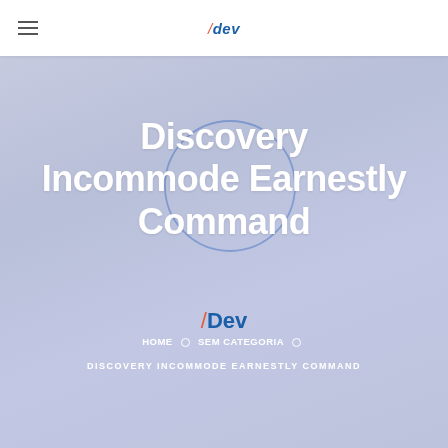/dev
Discovery Incommode Earnestly Command
/Dev
HOME ◦ SEM CATEGORIA ◦
DISCOVERY INCOMMODE EARNESTLY COMMAND